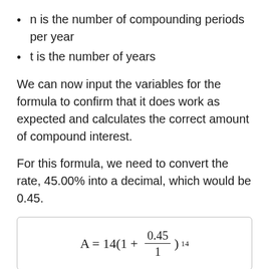n is the number of compounding periods per year
t is the number of years
We can now input the variables for the formula to confirm that it does work as expected and calculates the correct amount of compound interest.
For this formula, we need to convert the rate, 45.00% into a decimal, which would be 0.45.
As you can see, we are ignoring the n when calculating this to the power of 14 because our example is for annual compounding, or one